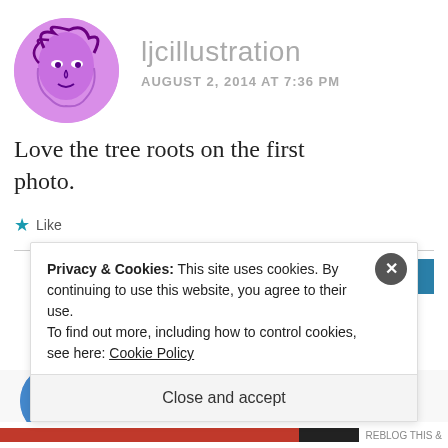[Figure (illustration): Circular avatar image with purple-toned illustration of a face, used as a user profile photo for ljcillustration]
ljcillustration
AUGUST 2, 2014 AT 7:36 PM
Love the tree roots on the first photo.
★ Like
REPLY
[Figure (illustration): Partial circular avatar for next comment author, blue/purple illustrated style]
Privacy & Cookies: This site uses cookies. By continuing to use this website, you agree to their use.
To find out more, including how to control cookies, see here: Cookie Policy
Close and accept